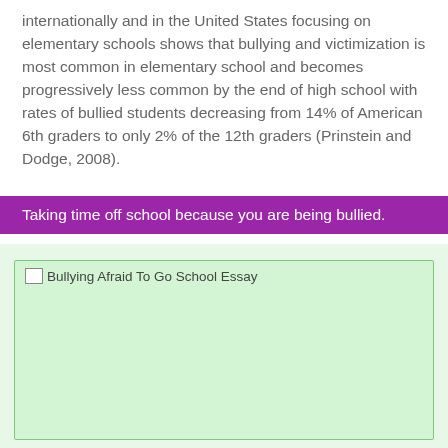internationally and in the United States focusing on elementary schools shows that bullying and victimization is most common in elementary school and becomes progressively less common by the end of high school with rates of bullied students decreasing from 14% of American 6th graders to only 2% of the 12th graders (Prinstein and Dodge, 2008).
Taking time off school because you are being bullied.
[Figure (photo): Image placeholder with green background and cyan border labeled 'Bullying Afraid To Go School Essay']